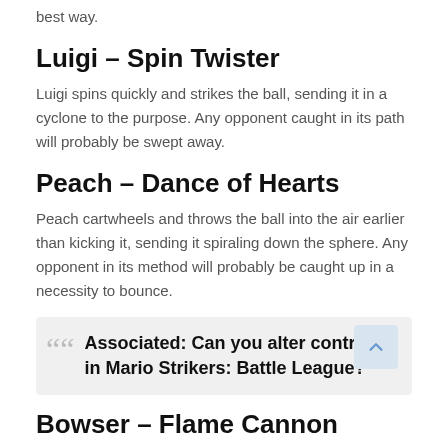best way.
Luigi – Spin Twister
Luigi spins quickly and strikes the ball, sending it in a cyclone to the purpose. Any opponent caught in its path will probably be swept away.
Peach – Dance of Hearts
Peach cartwheels and throws the ball into the air earlier than kicking it, sending it spiraling down the sphere. Any opponent in its method will probably be caught up in a necessity to bounce.
Associated: Can you alter controls in Mario Strikers: Battle League?
Bowser – Flame Cannon